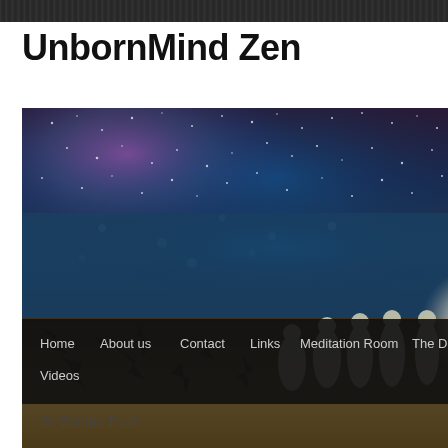UnbornMind Zen
[Figure (illustration): A cosmic/spiritual scene showing robed figures walking along a cracked desert ground toward a large glowing orb, under a starry blue and purple sky. Navigation bar overlaid at bottom: Home, About us, Contact, Links, Meditation Room, The Dha..., Videos]
← To Tell the Truth